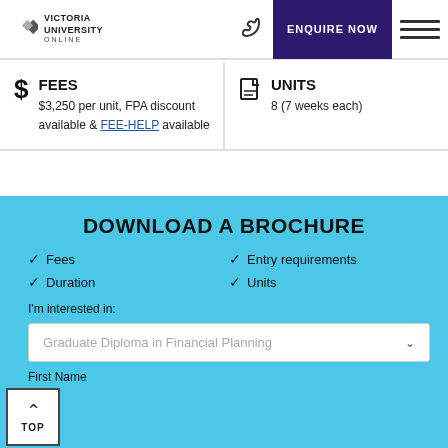VICTORIA UNIVERSITY ONLINE | ENQUIRE NOW
FEES
$3,250 per unit, FPA discount available & FEE-HELP available
UNITS
8 (7 weeks each)
DOWNLOAD A BROCHURE
Fees
Entry requirements
Duration
Units
I'm interested in:
Graduate Diploma in Financial Planning
First Name